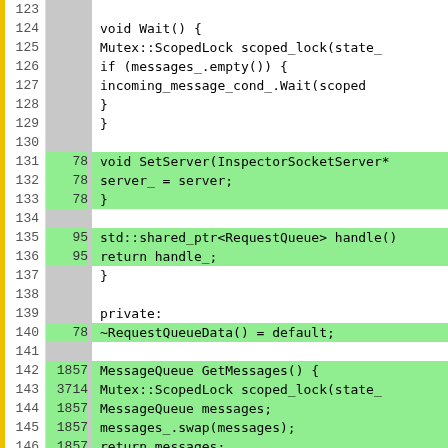[Figure (screenshot): Code coverage view showing C++ source code lines 123-149 with line numbers, hit counts, and highlighted (green) covered lines. Code shows RequestQueueData class methods including Wait(), SetServer(), handle(), private destructor, and GetMessages().]